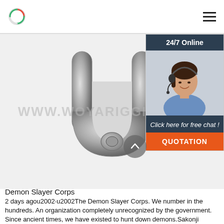[Logo] [Hamburger menu]
[Figure (photo): Close-up black and white photo of a U-bolt (shackle bow) with watermark text WWW.WOYARIGGING.COM overlaid]
[Figure (photo): 24/7 Online chat widget with photo of a woman wearing a headset, 'Click here for free chat!' text, and an orange QUOTATION button]
Demon Slayer Corps
2 days agou2002·u2002The Demon Slayer Corps. We number in the hundreds. An organization completely unrecognized by the government. Since ancient times, we have existed to hunt down demons.Sakonji Urokodaki introducing the Demon Slayer Corps to Tanjiro Kamado in Sabito and Makomo The Demon Slayer Corps (□ (□) □ (□□) □ (□□), Kisatsutai?) is an organization ...